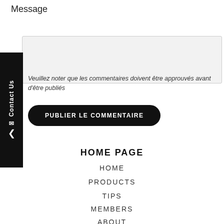Message
[Figure (other): Message text area input field]
Veuillez noter que les commentaires doivent être approuvés avant d'être publiés
PUBLIER LE COMMENTAIRE
HOME PAGE
HOME
PRODUCTS
TIPS
MEMBERS
ABOUT